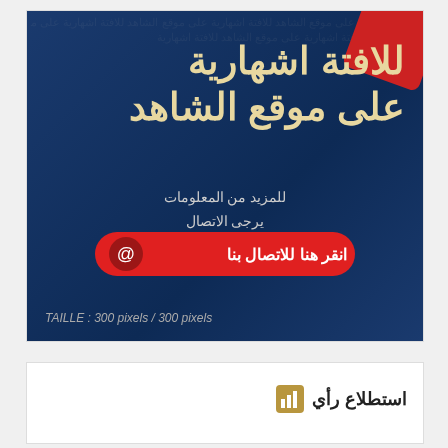[Figure (infographic): Arabic advertising banner on dark blue background with gold/cream large Arabic text 'للافتة اشهارية على موقع الشاهد' (Advertising banner on Al-Shahid website), smaller Arabic text 'للمزيد من المعلومات يرجى الاتصال بقسم المبيعات في الموقع', a red rounded button with white Arabic text 'انقر هنا للاتصال بنا' and an @ icon, and bottom text 'TAILLE : 300 pixels / 300 pixels'. Red decorative shape in top-right corner.]
استطلاع رأي